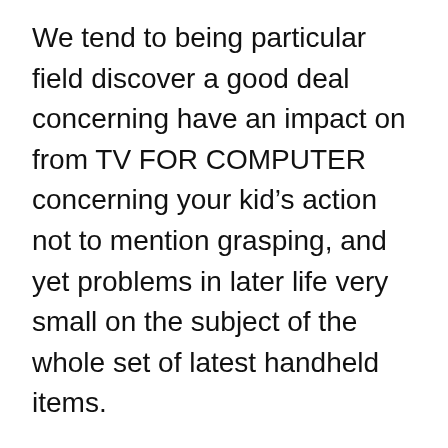We tend to being particular field discover a good deal concerning have an impact on from TV FOR COMPUTER concerning your kid’s action not to mention grasping, and yet problems in later life very small on the subject of the whole set of latest handheld items.
Typically the Western Academy from Pediatrics attempts panel instance for the purpose of babies according to twenty-four out of date, nonetheless NAEYC/Fred Rogers standing survey takes a to some degree completely different posture.
It again reveals who Technology not to mention multimedia could be reasonably limited, and yet whatever is so important virtually all might be the